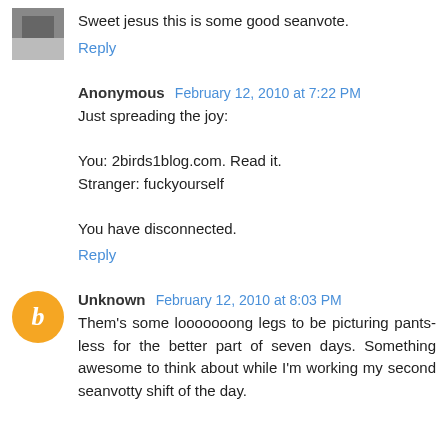Sweet jesus this is some good seanvote.
Reply
Anonymous  February 12, 2010 at 7:22 PM
Just spreading the joy:

You: 2birds1blog.com. Read it.
Stranger: fuckyourself

You have disconnected.
Reply
Unknown  February 12, 2010 at 8:03 PM
Them's some looooooong legs to be picturing pants-less for the better part of seven days. Something awesome to think about while I'm working my second seanvotty shift of the day.